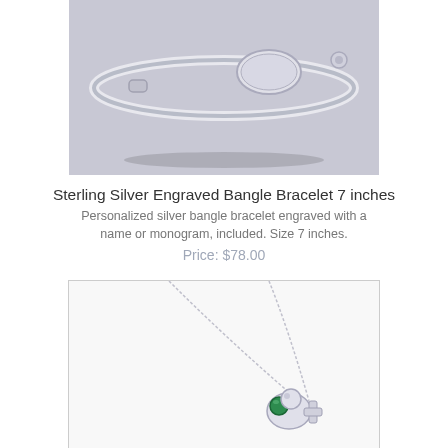[Figure (photo): Close-up photo of a sterling silver bangle bracelet with an oval engraving plate, on a light grey textured background.]
Sterling Silver Engraved Bangle Bracelet 7 inches
Personalized silver bangle bracelet engraved with a name or monogram, included. Size 7 inches.
Price: $78.00
[Figure (photo): Photo of a silver necklace with a cross charm and a green gemstone bead pendant, on a white background with a light grey border.]